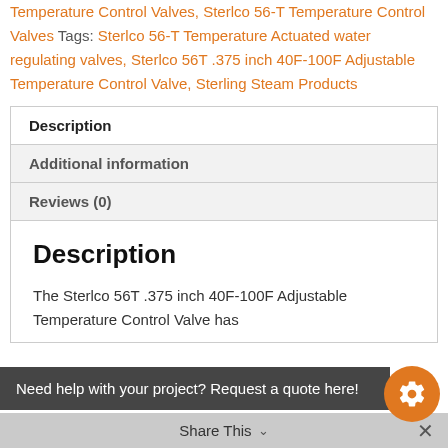Temperature Control Valves, Sterlco 56-T Temperature Control Valves Tags: Sterlco 56-T Temperature Actuated water regulating valves, Sterlco 56T .375 inch 40F-100F Adjustable Temperature Control Valve, Sterling Steam Products
| Description |
| Additional information |
| Reviews (0) |
Description
The Sterlco 56T .375 inch 40F-100F Adjustable Temperature Control Valve has control. The Sterlco, Sterlco 56T 3/8 inch 40F-100F Temperature Actuated Water Regulating
Need help with your project? Request a quote here!
Share This